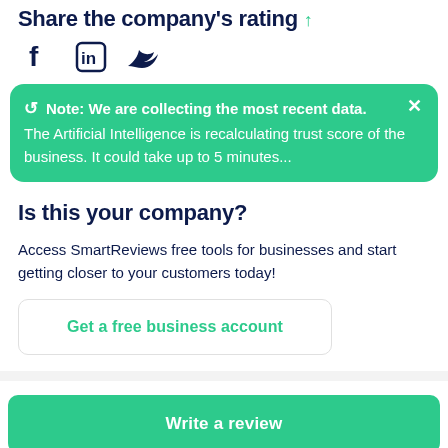Share the company's rating
[Figure (other): Social media share icons: Facebook, LinkedIn, Twitter]
Note: We are collecting the most recent data. The Artificial Intelligence is recalculating trust score of the business. It could take up to 5 minutes...
Is this your company?
Access SmartReviews free tools for businesses and start getting closer to your customers today!
Get a free business account
Write a review